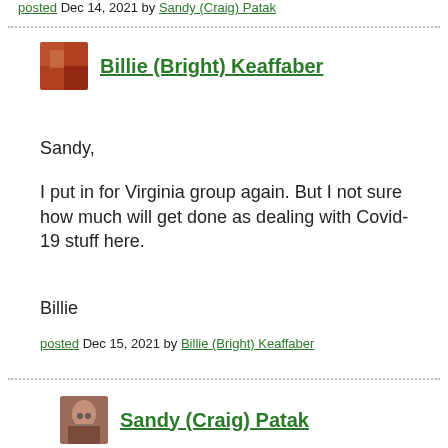posted Dec 14, 2021 by Sandy (Craig) Patak
Billie (Bright) Keaffaber
Sandy,

I put in for Virginia group again. But I not sure how much will get done as dealing with Covid-19 stuff here.

Billie
posted Dec 15, 2021 by Billie (Bright) Keaffaber
Sandy (Craig) Patak